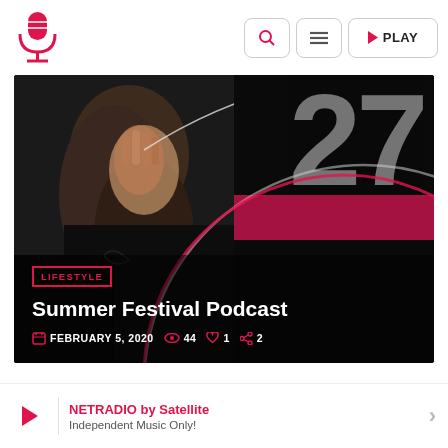NETRADIO — logo and nav bar with search, menu, and PLAY buttons
[Figure (photo): Dark hero image of a person in black clothing with decorative circular arc lines in pink/white and large stylized '27' text overlay on dark background]
LIFESTYLE
Summer Festival Podcast
FEBRUARY 5, 2020  44  1  2
NETRADIO by Satellite  Independent Music Only!